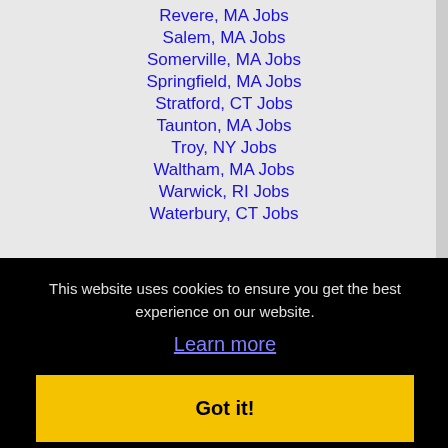Revere, MA Jobs
Salem, MA Jobs
Somerville, MA Jobs
Springfield, MA Jobs
Stratford, CT Jobs
Taunton, MA Jobs
Troy, NY Jobs
Waltham, MA Jobs
Warwick, RI Jobs
Waterbury, CT Jobs
This website uses cookies to ensure you get the best experience on our website.
Learn more
Got it!
Home  Profile and Resume  Browse Jobs  Employers